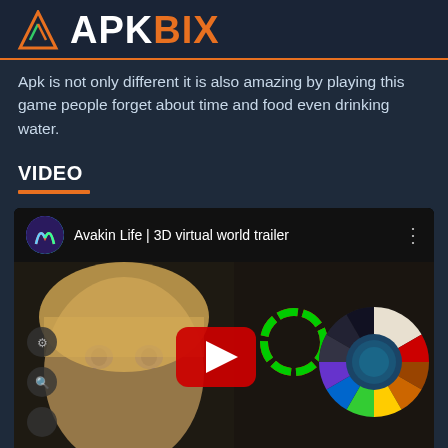APKBIX
Apk is not only different it is also amazing by playing this game people forget about time and food even drinking water.
VIDEO
[Figure (screenshot): YouTube video embed showing 'Avakin Life | 3D virtual world trailer' with a play button overlay, featuring a 3D avatar and color wheel on the right side. Bottom banner reads 'TRY ON AN ENDLESS WARDROBE.']